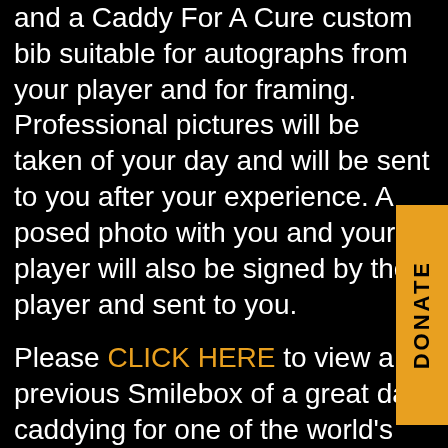and a Caddy For A Cure custom bib suitable for autographs from your player and for framing. Professional pictures will be taken of your day and will be sent to you after your experience. A posed photo with you and your player will also be signed by the player and sent to you.
Please CLICK HERE to view a previous Smilebox of a great day caddying for one of the world's best.
PAYMENT MATTERS
After the auction closes, if you choose to make an electronic payment by credit card or utilizing PayPal, you will need to